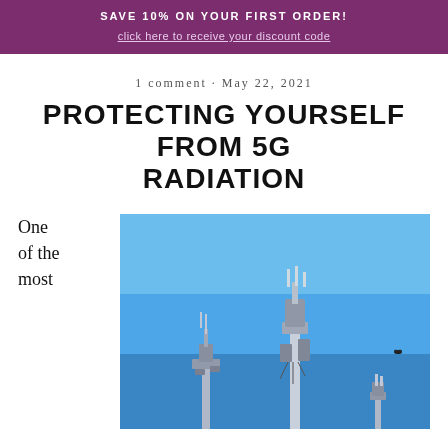SAVE 10% ON YOUR FIRST ORDER!
click here to receive your discount code
1 comment · May 22, 2021
PROTECTING YOURSELF FROM 5G RADIATION
One of the most
[Figure (photo): Cell phone towers against a blue sky, showing multiple antenna masts with equipment]